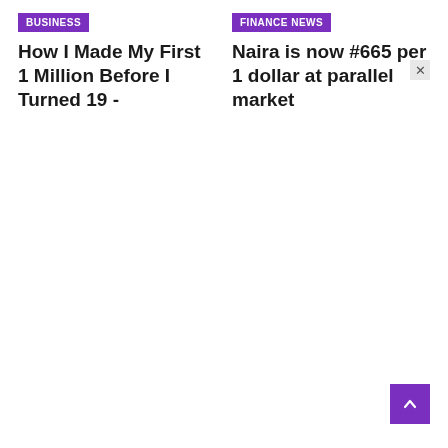BUSINESS
How I Made My First 1 Million Before I Turned 19 -
FINANCE NEWS
Naira is now #665 per 1 dollar at parallel market